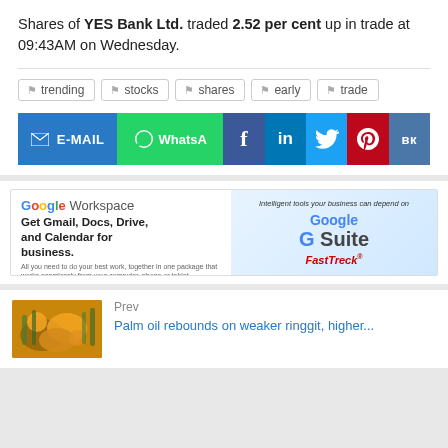Shares of YES Bank Ltd. traded 2.52 per cent up in trade at 09:43AM on Wednesday.
trending
stocks
shares
early
trade
[Figure (screenshot): Social share buttons row: E-MAIL (blue), WhatsApp (green), Facebook (dark blue), LinkedIn (blue), Twitter (light blue), Pinterest (red), VK (steel blue)]
[Figure (screenshot): Google Workspace / G Suite advertisement by FastTreck. Text: Get Gmail, Docs, Drive, and Calendar for business. Start at just ₹136.80! ORDER NOW. Intelligent tools your business can depend on.]
Prev
Palm oil rebounds on weaker ringgit, higher...